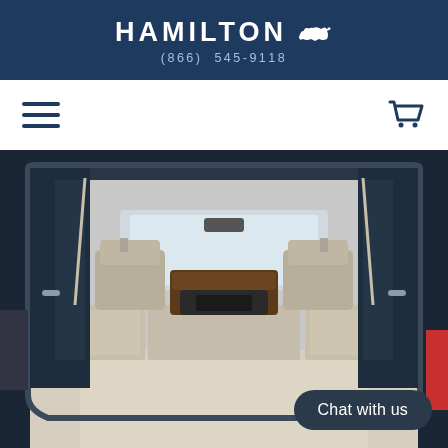HAMILTON (866) 545-9118
[Figure (illustration): Hamburger menu icon (three horizontal lines) on left, shopping cart icon on right — navigation bar icons]
[Figure (photo): Interior of a large SUV photographed from the open rear hatch, showing folded-flat rear seats, cream/beige leather interior, front seats, dashboard with wood trim, and windshield. The cargo area is fully open and empty.]
Chat with us